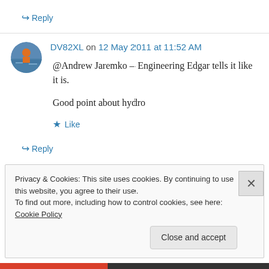↪ Reply
DV82XL on 12 May 2011 at 11:52 AM
@Andrew Jaremko – Engineering Edgar tells it like it is.

Good point about hydro
★ Like
↪ Reply
Privacy & Cookies: This site uses cookies. By continuing to use this website, you agree to their use.
To find out more, including how to control cookies, see here: Cookie Policy
Close and accept